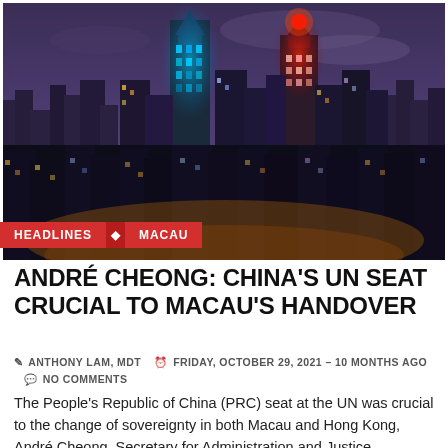[Figure (photo): Night aerial panoramic view of Macau city skyline with illuminated skyscrapers, casino towers with colorful lights including a distinctive blue tower and red-lit tower, dense urban buildings in foreground.]
HEADLINES • MACAU
ANDRÉ CHEONG: CHINA'S UN SEAT CRUCIAL TO MACAU'S HANDOVER
✎ ANTHONY LAM, MDT   🕐 FRIDAY, OCTOBER 29, 2021 - 10 MONTHS AGO   💬 NO COMMENTS
The People's Republic of China (PRC) seat at the UN was crucial to the change of sovereignty in both Macau and Hong Kong, André Cheong, Secretary for Administration and Justice